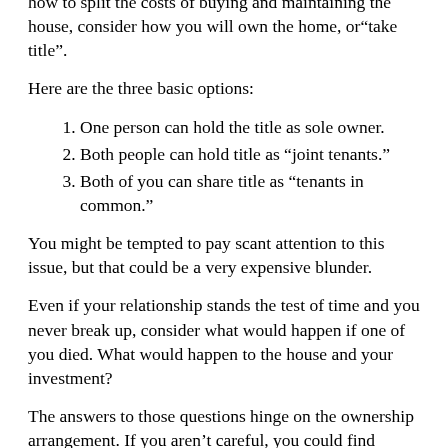how to split the costs of buying and maintaining the house, consider how you will own the home, or“take title”.
Here are the three basic options:
One person can hold the title as sole owner.
Both people can hold title as “joint tenants.”
Both of you can share title as “tenants in common.”
You might be tempted to pay scant attention to this issue, but that could be a very expensive blunder.
Even if your relationship stands the test of time and you never break up, consider what would happen if one of you died. What would happen to the house and your investment?
The answers to those questions hinge on the ownership arrangement. If you aren’t careful, you could find yourself losing your home – even if you contributed thousands of dollars to the mortgage and other expenses.